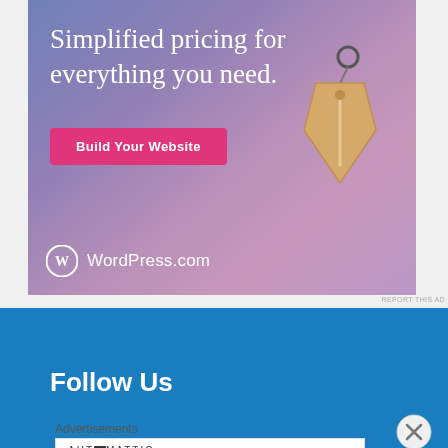[Figure (illustration): WordPress.com advertisement with blue-purple gradient background, text 'Simplified pricing for everything you need.', a pink 'Build Your Website' button, a hanging price tag graphic on the right, and the WordPress.com logo at the bottom.]
REPORT THIS AD
Follow Us
Advertisements
AUTOMATTIC
Build a better web and a better world.
REPORT THIS AD